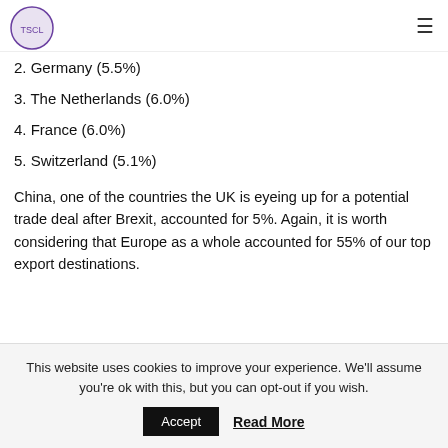Total Supply Chain Summit logo and navigation
2. Germany (5.5%)
3. The Netherlands (6.0%)
4. France (6.0%)
5. Switzerland (5.1%)
China, one of the countries the UK is eyeing up for a potential trade deal after Brexit, accounted for 5%. Again, it is worth considering that Europe as a whole accounted for 55% of our top export destinations.
This website uses cookies to improve your experience. We'll assume you're ok with this, but you can opt-out if you wish.
Accept   Read More